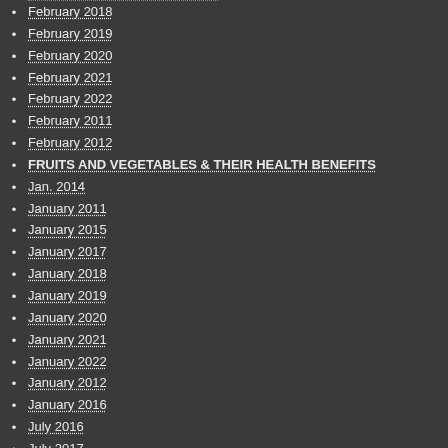February 2018
February 2019
February 2020
February 2021
February 2022
February 2011
February 2012
FRUITS AND VEGETABLES & THEIR HEALTH BENEFITS
Jan. 2014
January 2011
January 2015
January 2017
January 2018
January 2019
January 2020
January 2021
January 2022
January 2012
January 2016
July 2016
July 2017
July 2019